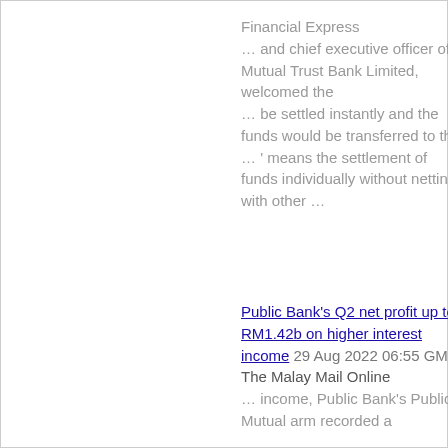Financial Express
… and chief executive officer of Mutual Trust Bank Limited, welcomed the
… be settled instantly and the funds would be transferred to the … ' means the settlement of funds individually without netting with other …
Public Bank's Q2 net profit up to RM1.42b on higher interest income 29 Aug 2022 06:55 GMT The Malay Mail Online
… income, Public Bank's Public Mutual arm recorded a